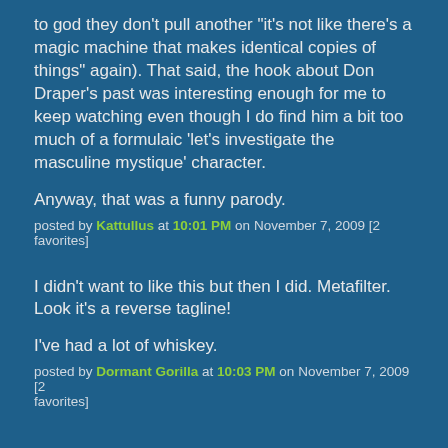to god they don't pull another "it's not like there's a magic machine that makes identical copies of things" again). That said, the hook about Don Draper's past was interesting enough for me to keep watching even though I do find him a bit too much of a formulaic 'let's investigate the masculine mystique' character.
Anyway, that was a funny parody.
posted by Kattullus at 10:01 PM on November 7, 2009 [2 favorites]
I didn't want to like this but then I did. Metafilter. Look it's a reverse tagline!
I've had a lot of whiskey.
posted by Dormant Gorilla at 10:03 PM on November 7, 2009 [2 favorites]